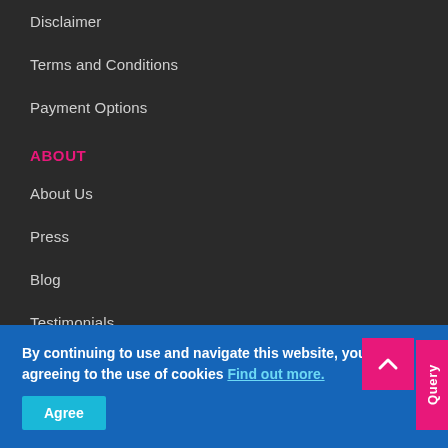Disclaimer
Terms and Conditions
Payment Options
ABOUT
About Us
Press
Blog
Testimonials
Guestbook
Be our Referral
Contact Us
ART RESOURCES
By continuing to use and navigate this website, you are agreeing to the use of cookies Find out more.
Agree